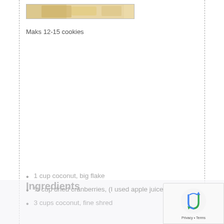[Figure (photo): Photo of cookies on a wooden surface, cropped at top]
Maks 12-15 cookies
Ingredients
3 cups coconut, fine shred
1 cup coconut, big flake
½ cup dried cranberries, (I used apple juice sweetened